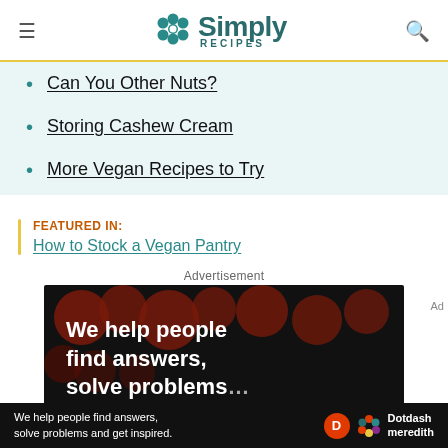Simply Recipes
Can You Other Nuts?
Storing Cashew Cream
More Vegan Recipes to Try
FEATURED IN: How to Stock a Vegan Pantry
Advertisement
[Figure (photo): Advertisement banner: dark background with dark red circular bokeh blobs and white bold text reading 'We help people find answers, solve problems'. Bottom banner includes Dotdash Meredith branding.]